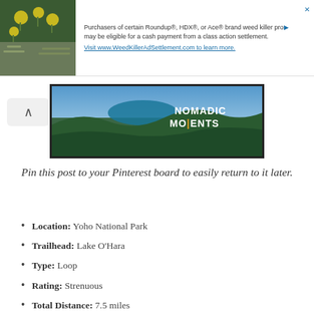[Figure (advertisement): Ad banner with plant/flower image on left and text about Roundup class action settlement on right]
[Figure (photo): Nomadic Moments banner image showing aerial landscape with lake and text 'NOMADIC MOMENTS']
Pin this post to your Pinterest board to easily return to it later.
Location: Yoho National Park
Trailhead: Lake O'Hara
Type: Loop
Rating: Strenuous
Total Distance: 7.5 miles
Trailhead Elevation: 6,625'
Total Elevation Gain: 2,740'
Recommended Time: Full-day